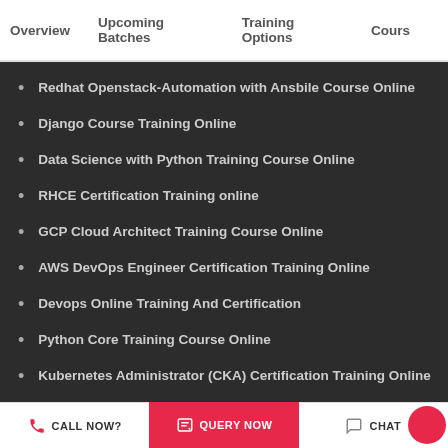Overview   Upcoming Batches   Training Options   Cours
Redhat Openstack-Automation with Ansbile Course Online
Django Course Training Online
Data Science with Python Training Course Online
RHCE Certification Training online
GCP Cloud Architect Training Course Online
AWS DevOps Engineer Certification Training Online
Devops Online Training And Certification
Python Core Training Course Online
Kubernetes Administrator (CKA) Certification Training Online
AWS SysOps Administrator Associate Training Course online
Cloud Computing Course Online
CALL NOW?   QUERY NOW   CHAT